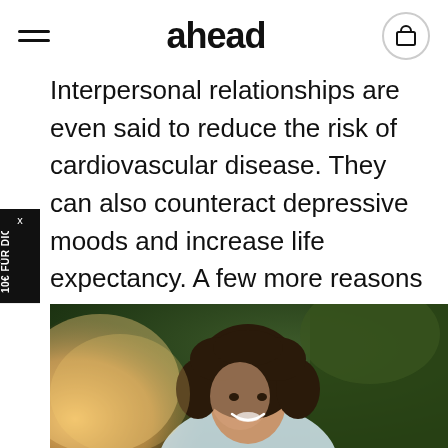ahead
Interpersonal relationships are even said to reduce the risk of cardiovascular disease. They can also counteract depressive moods and increase life expectancy. A few more reasons to see your loved ones to give the autumn blues the cold shoulder.
[Figure (photo): Smiling woman with curly hair outdoors in warm sunlight with green trees in background]